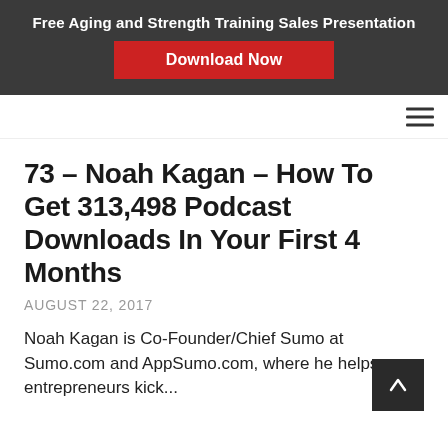Free Aging and Strength Training Sales Presentation
Download Now
73 – Noah Kagan – How To Get 313,498 Podcast Downloads In Your First 4 Months
AUGUST 22, 2017
Noah Kagan is Co-Founder/Chief Sumo at Sumo.com and AppSumo.com, where he helps entrepreneurs kick...
102 – Luke Carlson on How to Run